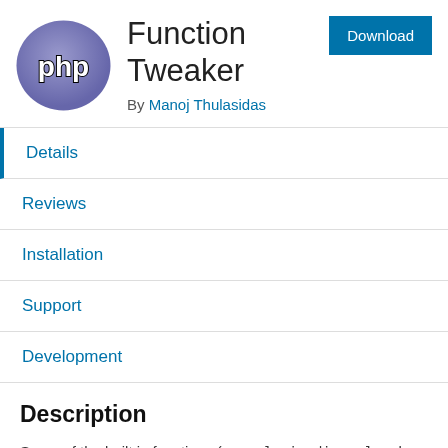[Figure (logo): PHP logo — blue/purple oval with 'php' text in black and white]
Function Tweaker
By Manoj Thulasidas
Download
Details
Reviews
Installation
Support
Development
Description
Some of the built in functions (e.g., plugin_dir_url and plugins_url) may not work properly if you